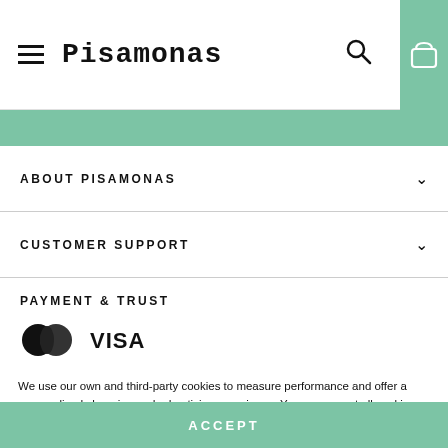Pisamonas
ABOUT PISAMONAS
CUSTOMER SUPPORT
PAYMENT & TRUST
[Figure (logo): Mastercard and Visa payment logos]
We use our own and third-party cookies to measure performance and offer a personalized shopping and advertising experience. You can accept all cookies by pressing the "Accept" button and configure or reject their use by clicking here.
ACCEPT